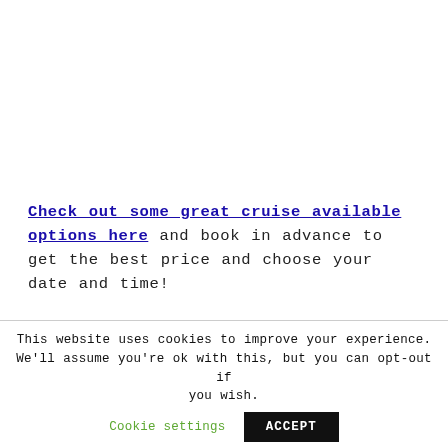Check out some great cruise available options here and book in advance to get the best price and choose your date and time!
This website uses cookies to improve your experience. We'll assume you're ok with this, but you can opt-out if you wish. Cookie settings ACCEPT